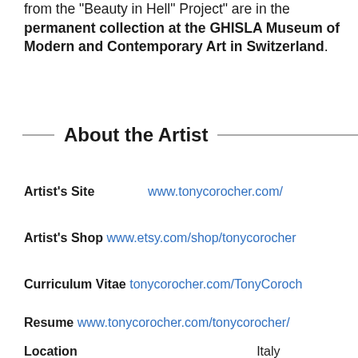from the "Beauty in Hell" Project" are in the permanent collection at the GHISLA Museum of Modern and Contemporary Art in Switzerland.
About the Artist
Artist's Site   www.tonycorocher.com/
Artist's Shop   www.etsy.com/shop/tonycorocher
Curriculum Vitae   tonycorocher.com/TonyCoroch
Resume   www.tonycorocher.com/tonycorocher/
Location   Italy